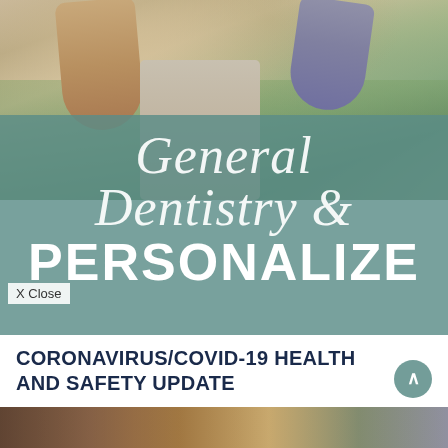[Figure (photo): Person with arms raised outdoors with trees in background, viewed from below]
General Dentistry & PERSONALIZE
X Close
CORONAVIRUS/COVID-19 HEALTH AND SAFETY UPDATE
[Figure (photo): Bottom partial photo strip showing person's head/hair]